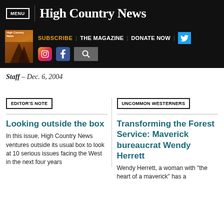MENU | High Country News
SUBSCRIBE | THE MAGAZINE | DONATE NOW
Staff – Dec. 6, 2004
EDITOR'S NOTE
UNCOMMON WESTERNERS
Looking outside the box
In this issue, High Country News ventures outside its usual box to look at 10 serious issues facing the West in the next four years
Transforming the Forest Service: Maverick bureaucrat Wendy Herrett
Wendy Herrett, a woman with "the heart of a maverick" has a